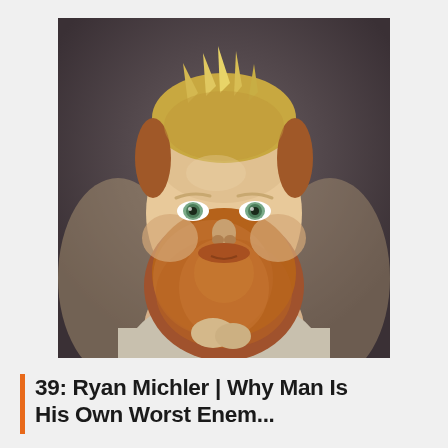[Figure (photo): Professional portrait photo of a man with a large auburn/ginger beard, blonde-tipped spiky hair on top, intense gaze directed at camera, wearing a light grey shirt, hands clasped near chin, dark grey background.]
39: Ryan Michler | Why Man Is His Own Worst Enem...